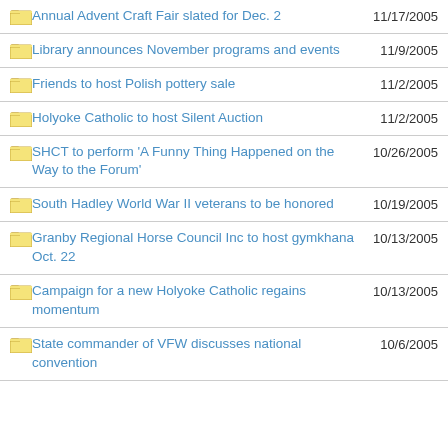Annual Advent Craft Fair slated for Dec. 2
Library announces November programs and events
Friends to host Polish pottery sale
Holyoke Catholic to host Silent Auction
SHCT to perform 'A Funny Thing Happened on the Way to the Forum'
South Hadley World War II veterans to be honored
Granby Regional Horse Council Inc to host gymkhana Oct. 22
Campaign for a new Holyoke Catholic regains momentum
State commander of VFW discusses national convention